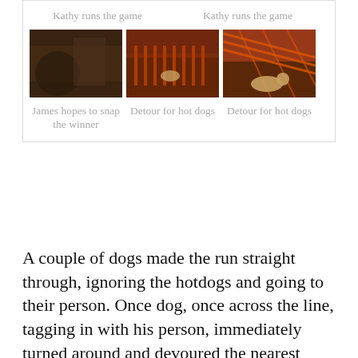Kathy runs the game
Kathy runs the game
[Figure (photo): Two people crouching at a table with small game pieces and orange cones, indoor event setting]
[Figure (photo): A dog running through orange safety netting cones on a floor]
[Figure (photo): A dog sniffing near orange safety netting, close-up view]
James hopes to snap the winner
Detour for hot dogs
Detour for hot dogs
A couple of dogs made the run straight through, ignoring the hotdogs and going to their person. Once dog, once across the line, tagging in with his person, immediately turned around and devoured the nearest bowl of hotdogs.  But that dog was a winner because he crossed the line first.  One dog